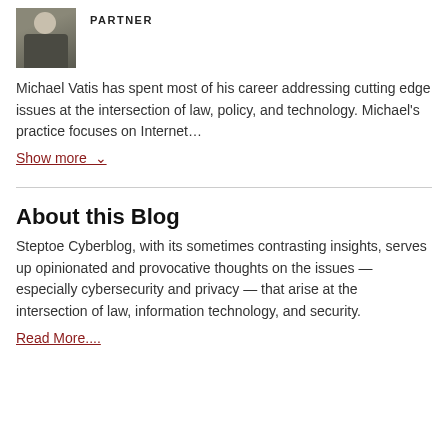[Figure (photo): Portrait photo of a man in a suit jacket]
PARTNER
Michael Vatis has spent most of his career addressing cutting edge issues at the intersection of law, policy, and technology. Michael's practice focuses on Internet…
Show more ∨
About this Blog
Steptoe Cyberblog, with its sometimes contrasting insights, serves up opinionated and provocative thoughts on the issues — especially cybersecurity and privacy — that arise at the intersection of law, information technology, and security.
Read More....